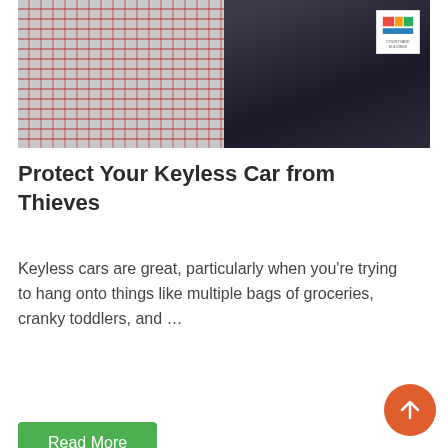[Figure (photo): Person in red plaid shirt touching a dark car door handle, with a logo badge in the top right corner]
Protect Your Keyless Car from Thieves
Keyless cars are great, particularly when you're trying to hang onto things like multiple bags of groceries, cranky toddlers, and …
Read More
[Figure (photo): Man with glasses sitting thoughtfully at a desk near a window]